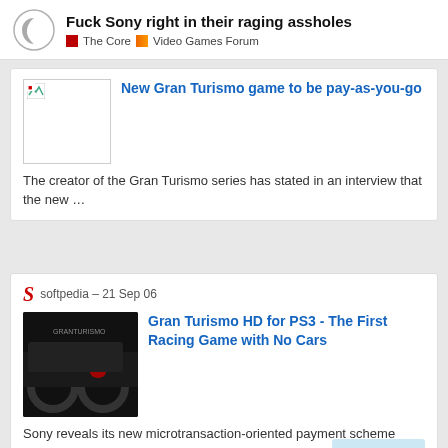Fuck Sony right in their raging assholes — The Core | Video Games Forum
New Gran Turismo game to be pay-as-you-go
The creator of the Gran Turismo series has stated in an interview that the new ...
softpedia – 21 Sep 06
Gran Turismo HD for PS3 - The First Racing Game with No Cars
Sony reveals its new microtransaction-oriented payment scheme
33 / 39